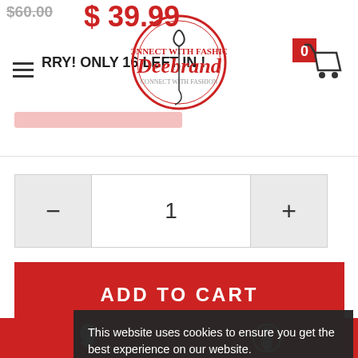$60.00
$ 39.99
RRY! ONLY 16 LEFT IN !
[Figure (logo): Deebrand circular logo with red text]
[Figure (other): Shopping cart icon with badge showing 0]
- 1 +
ADD TO CART
ASK ABOUT THIS PRODUCT
This website uses cookies to ensure you get the best experience on our website.
Learn more
DESCRIPTION
SHIPPING
REVIEWS
Got it!